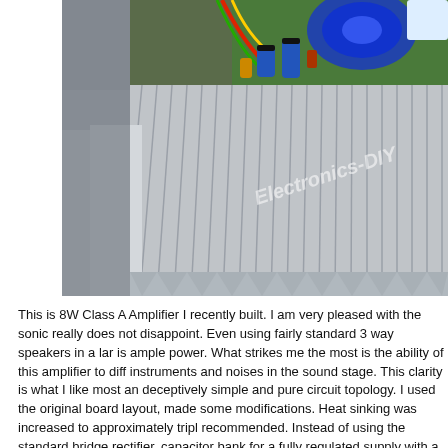[Figure (photo): Photograph of an 8W Class A Amplifier showing a large aluminum heat sink with fins, circuit board components visible at the top including capacitors and wiring, with an 'Electronics-DIY' watermark on the heatsink.]
This is 8W Class A Amplifier I recently built. I am very pleased with the sonic really does not disappoint. Even using fairly standard 3 way speakers in a large room there is ample power. What strikes me the most is the ability of this amplifier to differentiate instruments and noises in the sound stage. This clarity is what I like most and stems from its deceptively simple and pure circuit topology. I used the original board layout, but made some modifications. Heat sinking was increased to approximately triple what was recommended. Instead of using the standard bridge rectifier, capacitor bank for a fully regulated supply with a total of 127,0000 uF capacitance per channel along with a custom transformer.